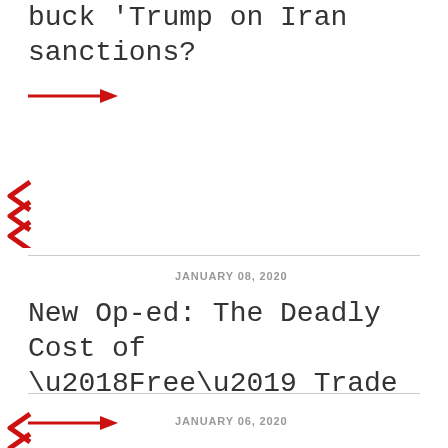buck 'Trump on Iran sanctions?
[Figure (illustration): Red right-pointing arrow]
JANUARY 08, 2020
[Figure (illustration): Red double chevron left decoration]
New Op-ed: The Deadly Cost of ‘Free’ Trade
[Figure (illustration): Red right-pointing arrow]
JANUARY 06, 2020
[Figure (illustration): Red double chevron left decoration at bottom]